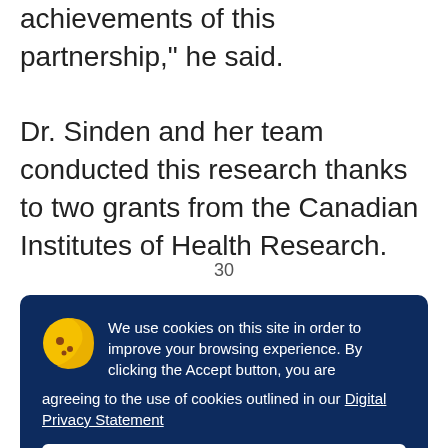achievements of this partnership," he said.

Dr. Sinden and her team conducted this research thanks to two grants from the Canadian Institutes of Health Research.
30
[Figure (screenshot): Cookie consent banner overlay with dark navy background. Contains a cookie icon (yellow), text about cookie usage, a link to Digital Privacy Statement, and an Accept button.]
M
p
Communications and Marketing Associate, at